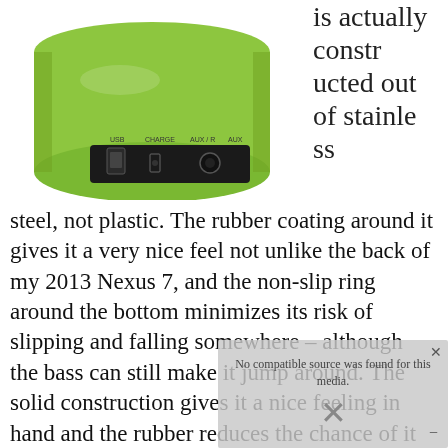[Figure (photo): Green cylindrical Bluetooth speaker viewed from the back/bottom showing USB, CHARGE, AUX/R, and AUX ports with labels]
is actually constructed out of stainless steel, not plastic. The rubber coating around it gives it a very nice feel not unlike the back of my 2013 Nexus 7, and the non-slip ring around the bottom minimizes its risk of slipping and falling somewhere – although the bass can still make it jump around. The solid construction gives it a nice feeling in hand and the rubber reduces the chance of it slipping.
[Figure (other): Media player overlay showing 'No compatible source was found for this media.' error message with X close button]